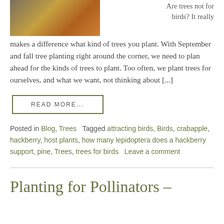[Figure (photo): Photo of a bird near orange crabapple berries on a tree]
Are trees not for birds? It really makes a difference what kind of trees you plant. With September and fall tree planting right around the corner, we need to plan ahead for the kinds of trees to plant. Too often, we plant trees for ourselves, and what we want, not thinking about [...]
READ MORE...
Posted in Blog, Trees   Tagged attracting birds, Birds, crabapple, hackberry, host plants, how many lepidoptera does a hackberry support, pine, Trees, trees for birds   Leave a comment
Planting for Pollinators –